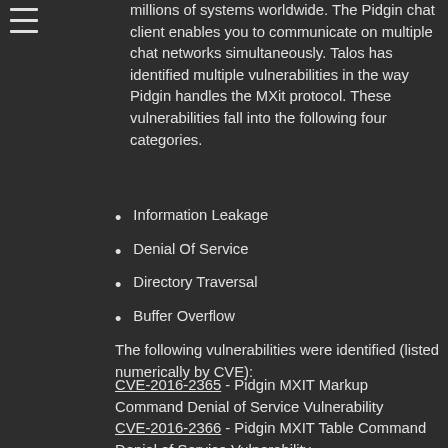millions of systems worldwide. The Pidgin chat client enables you to communicate on multiple chat networks simultaneously. Talos has identified multiple vulnerabilities in the way Pidgin handles the MXit protocol. These vulnerabilities fall into the following four categories.
Information Leakage
Denial Of Service
Directory Traversal
Buffer Overflow
The following vulnerabilities were identified (listed numerically by CVE):
CVE-2016-2365 - Pidgin MXIT Markup Command Denial of Service Vulnerability
CVE-2016-2366 - Pidgin MXIT Table Command Denial of Service Vulnerability